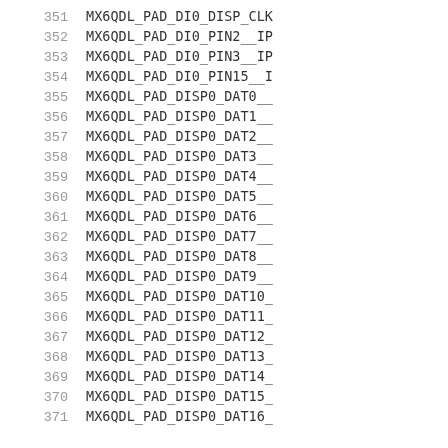351    MX6QDL_PAD_DI0_DISP_CLK
352    MX6QDL_PAD_DI0_PIN2__IP
353    MX6QDL_PAD_DI0_PIN3__IP
354    MX6QDL_PAD_DI0_PIN15__I
355    MX6QDL_PAD_DISP0_DAT0__
356    MX6QDL_PAD_DISP0_DAT1__
357    MX6QDL_PAD_DISP0_DAT2__
358    MX6QDL_PAD_DISP0_DAT3__
359    MX6QDL_PAD_DISP0_DAT4__
360    MX6QDL_PAD_DISP0_DAT5__
361    MX6QDL_PAD_DISP0_DAT6__
362    MX6QDL_PAD_DISP0_DAT7__
363    MX6QDL_PAD_DISP0_DAT8__
364    MX6QDL_PAD_DISP0_DAT9__
365    MX6QDL_PAD_DISP0_DAT10_
366    MX6QDL_PAD_DISP0_DAT11_
367    MX6QDL_PAD_DISP0_DAT12_
368    MX6QDL_PAD_DISP0_DAT13_
369    MX6QDL_PAD_DISP0_DAT14_
370    MX6QDL_PAD_DISP0_DAT15_
371    MX6QDL_PAD_DISP0_DAT16_